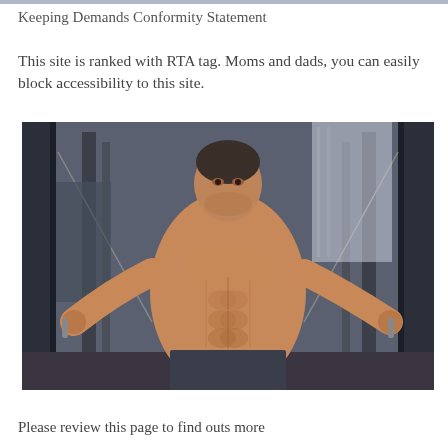Keeping Demands Conformity Statement
This site is ranked with RTA tag. Moms and dads, you can easily block accessibility to this site.
[Figure (photo): A muscular shirtless man performing cable fly exercise in a gym, holding cable handles with both arms extended sideways, standing in front of a cable machine with gym equipment in background.]
Please review this page to find outs more